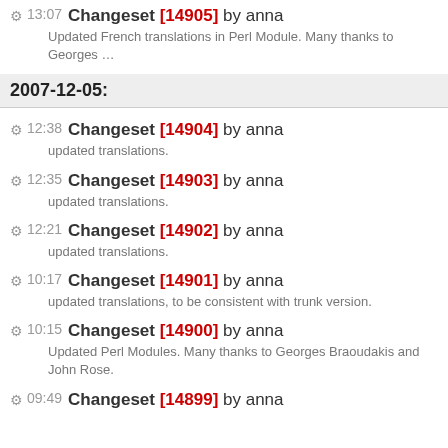13:07 Changeset [14905] by anna — Updated French translations in Perl Module. Many thanks to Georges …
2007-12-05:
12:38 Changeset [14904] by anna — updated translations.
12:35 Changeset [14903] by anna — updated translations.
12:21 Changeset [14902] by anna — updated translations.
10:17 Changeset [14901] by anna — updated translations, to be consistent with trunk version.
10:15 Changeset [14900] by anna — Updated Perl Modules. Many thanks to Georges Braoudakis and John Rose.
09:49 Changeset [14899] by anna